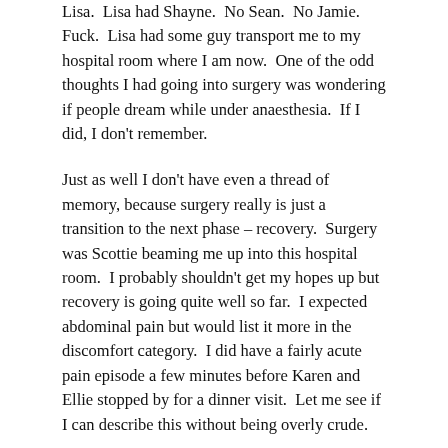Lisa.  Lisa had Shayne.  No Sean.  No Jamie.  Fuck.  Lisa had some guy transport me to my hospital room where I am now.  One of the odd thoughts I had going into surgery was wondering if people dream while under anaesthesia.  If I did, I don't remember.
Just as well I don't have even a thread of memory, because surgery really is just a transition to the next phase – recovery.  Surgery was Scottie beaming me up into this hospital room.  I probably shouldn't get my hopes up but recovery is going quite well so far.  I expected abdominal pain but would list it more in the discomfort category.  I did have a fairly acute pain episode a few minutes before Karen and Ellie stopped by for a dinner visit.  Let me see if I can describe this without being overly crude.
My pain felt like it does when you're watching a super long movie at the theater, and you don't want to go to the restroom because you don't want to miss anything.  The pain builds up to the point you can't hold it anymore.  When you finally try to release a stream of urine, letting it